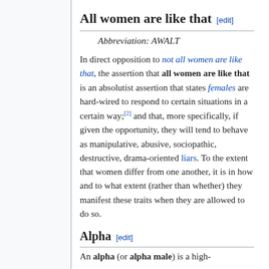All women are like that [edit]
Abbreviation: AWALT
In direct opposition to not all women are like that, the assertion that all women are like that is an absolutist assertion that states females are hard-wired to respond to certain situations in a certain way;[2] and that, more specifically, if given the opportunity, they will tend to behave as manipulative, abusive, sociopathic, destructive, drama-oriented liars. To the extent that women differ from one another, it is in how and to what extent (rather than whether) they manifest these traits when they are allowed to do so.
Alpha [edit]
An alpha (or alpha male) is a high-